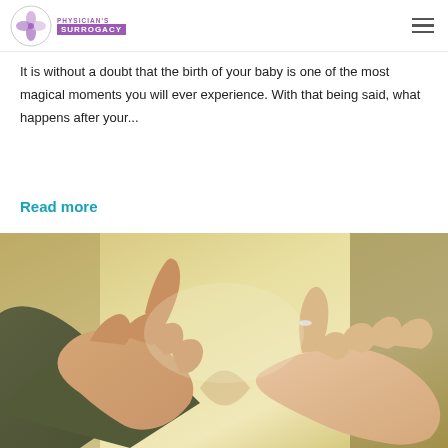PHYSICIAN'S SURROGACY
5 Tips for Traveling with Your Baby After Surrogacy Birth
It is without a doubt that the birth of your baby is one of the most magical moments you will ever experience. With that being said, what happens after your...
Read more
[Figure (photo): Two pairs of hands forming a heart shape together, close-up photograph with warm golden background tones.]